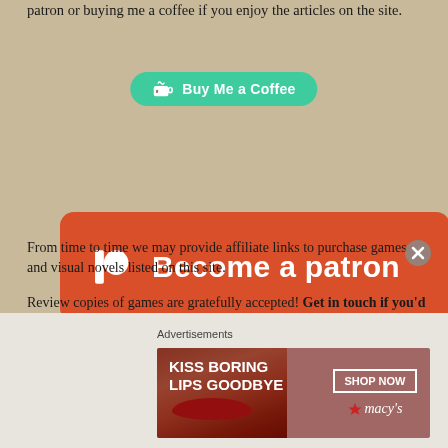patron or buying me a coffee if you enjoy the articles on the site.
[Figure (other): Buy Me a Coffee button — teal rounded button with coffee cup icon and text 'Buy Me a Coffee']
[Figure (other): Become a patron button — large orange/red rounded rectangle with Patreon logo icon and bold white text 'Become a patron']
From time to time we may provide affiliate links to purchase games and visual novels listed on this site.
Review copies of games are gratefully accepted! Get in touch if you'd like to submit your title for consideration.
Mobile and free-to-play games will generally not be considered.
Advertisements
[Figure (photo): Macy's advertisement banner: 'KISS BORING LIPS GOODBYE' with woman's face and red lips, SHOP NOW button and Macy's star logo]